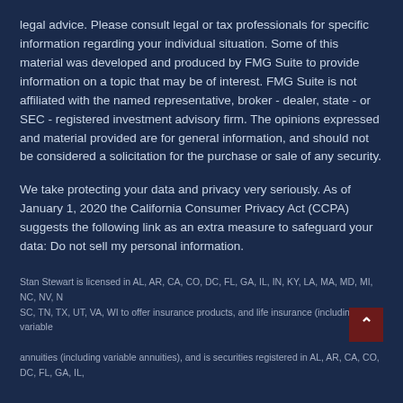legal advice. Please consult legal or tax professionals for specific information regarding your individual situation. Some of this material was developed and produced by FMG Suite to provide information on a topic that may be of interest. FMG Suite is not affiliated with the named representative, broker - dealer, state - or SEC - registered investment advisory firm. The opinions expressed and material provided are for general information, and should not be considered a solicitation for the purchase or sale of any security.
We take protecting your data and privacy very seriously. As of January 1, 2020 the California Consumer Privacy Act (CCPA) suggests the following link as an extra measure to safeguard your data: Do not sell my personal information.
Stan Stewart is licensed in AL, AR, CA, CO, DC, FL, GA, IL, IN, KY, LA, MA, MD, MI, NC, NV, NJ, SC, TN, TX, UT, VA, WI to offer insurance products, and life insurance (including variable annuities (including variable annuities), and is securities registered in AL, AR, CA, CO, DC, FL, GA, IL,